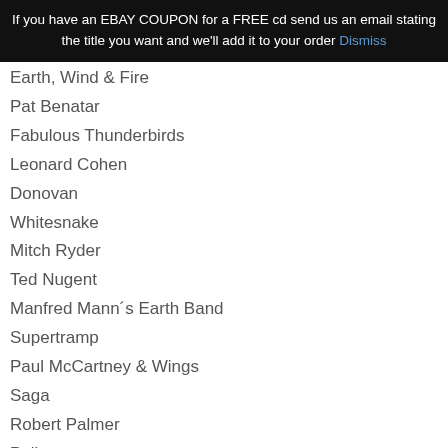If you have an EBAY COUPON for a FREE cd send us an email stating the title you want and we'll add it to your order Dismiss
Earth, Wind & Fire
Pat Benatar
Fabulous Thunderbirds
Leonard Cohen
Donovan
Whitesnake
Mitch Ryder
Ted Nugent
Manfred Mann´s Earth Band
Supertramp
Paul McCartney & Wings
Saga
Robert Palmer
Police
Amii Stewart
Alvin Lee
Sad Cafe
Foreigner
Gary Wright
Dr. Hook